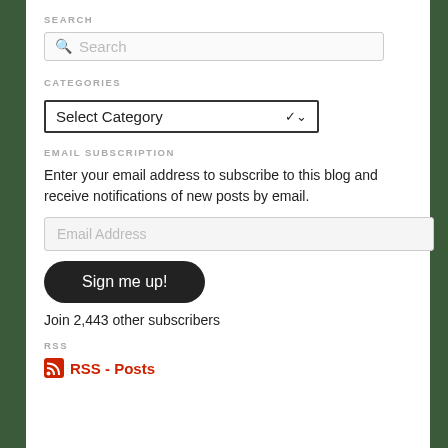SEARCH
[Figure (screenshot): Search input box with magnifying glass icon and placeholder text 'Search']
CATEGORIES
[Figure (screenshot): Dropdown select box labeled 'Select Category' with dropdown arrow]
EMAIL SUBSCRIPTION
Enter your email address to subscribe to this blog and receive notifications of new posts by email.
[Figure (screenshot): Email Address input field]
[Figure (screenshot): Sign me up! button (dark rounded pill button)]
Join 2,443 other subscribers
RSS
RSS - Posts